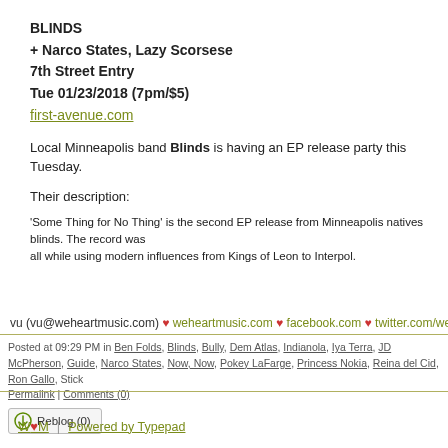BLINDS
+ Narco States, Lazy Scorsese
7th Street Entry
Tue 01/23/2018 (7pm/$5)
first-avenue.com
Local Minneapolis band Blinds is having an EP release party this Tuesday.
Their description:
'Some Thing for No Thing' is the second EP release from Minneapolis natives blinds. The record was all while using modern influences from Kings of Leon to Interpol.
vu (vu@weheartmusic.com) ♥ weheartmusic.com ♥ facebook.com ♥ twitter.com/wehear
Posted at 09:29 PM in Ben Folds, Blinds, Bully, Dem Atlas, Indianola, Iya Terra, JD McPherson, Guide, Narco States, Now, Now, Pokey LaFarge, Princess Nokia, Reina del Cid, Ron Gallo, Stick
Permalink | Comments (0)
Reblog (0)
W♥M  |  Powered by Typepad